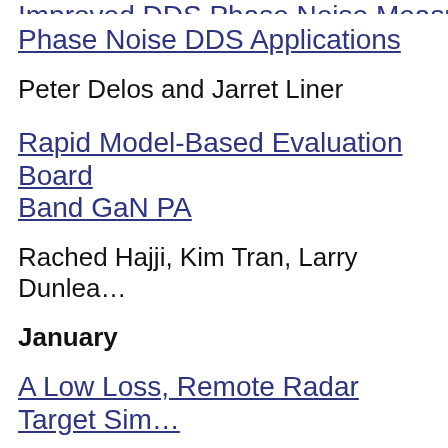Improved DDS Phase Noise Measurements (partial, clipped)
Phase Noise DDS Applications
Peter Delos and Jarret Liner
Rapid Model-Based Evaluation Board Band GaN PA
Rached Hajji, Kim Tran, Larry Dunlea
January
A Low Loss, Remote Radar Target Simulator (partial, clipped)
Joe Mazzochette